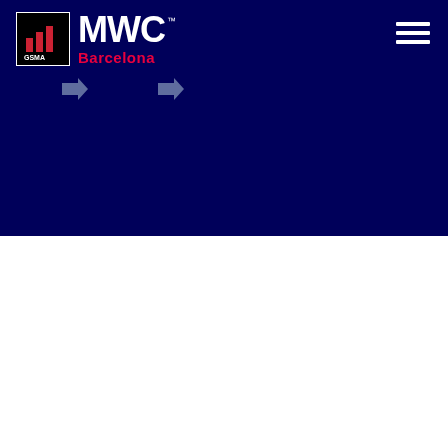[Figure (logo): MWC Barcelona logo with GSMA icon on dark navy background. GSMA icon shows red bar chart on black background. MWC in large white bold text with TM mark, Barcelona in red below.]
[Figure (other): Two right-pointing arrow symbols in light gray/blue color on the dark navy background, positioned in the upper-left area below the logo.]
[Figure (other): Hamburger menu icon (three horizontal white lines) in the top right corner of the dark navy section.]